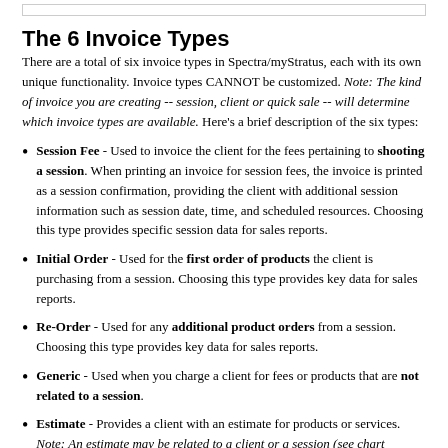The 6 Invoice Types
There are a total of six invoice types in Spectra/myStratus, each with its own unique functionality. Invoice types CANNOT be customized. Note: The kind of invoice you are creating -- session, client or quick sale -- will determine which invoice types are available. Here's a brief description of the six types:
Session Fee - Used to invoice the client for the fees pertaining to shooting a session. When printing an invoice for session fees, the invoice is printed as a session confirmation, providing the client with additional session information such as session date, time, and scheduled resources. Choosing this type provides specific session data for sales reports.
Initial Order - Used for the first order of products the client is purchasing from a session. Choosing this type provides key data for sales reports.
Re-Order - Used for any additional product orders from a session. Choosing this type provides key data for sales reports.
Generic - Used when you charge a client for fees or products that are not related to a session.
Estimate - Provides a client with an estimate for products or services. Note: An estimate may be related to a client or a session (see chart below). Estimates can be converted to invoices -- client estimate to